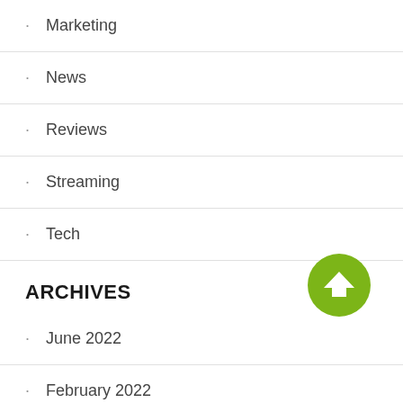Marketing
News
Reviews
Streaming
Tech
ARCHIVES
June 2022
February 2022
January 2022